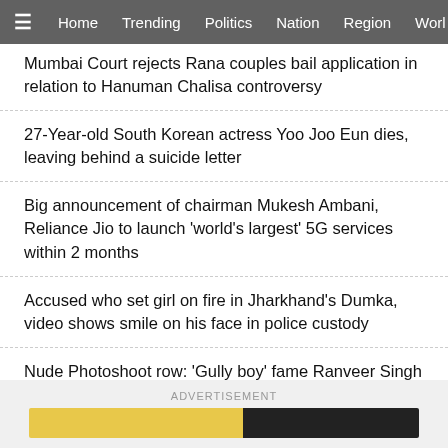≡ Home Trending Politics Nation Region Worl
Mumbai Court rejects Rana couples bail application in relation to Hanuman Chalisa controversy
27-Year-old South Korean actress Yoo Joo Eun dies, leaving behind a suicide letter
Big announcement of chairman Mukesh Ambani, Reliance Jio to launch 'world's largest' 5G services within 2 months
Accused who set girl on fire in Jharkhand's Dumka, video shows smile on his face in police custody
Nude Photoshoot row: 'Gully boy' fame Ranveer Singh records his statement at Mumbai's Chembur police station
Delhi Police busted extortion group gang that filing false rape cases
ADVERTISEMENT